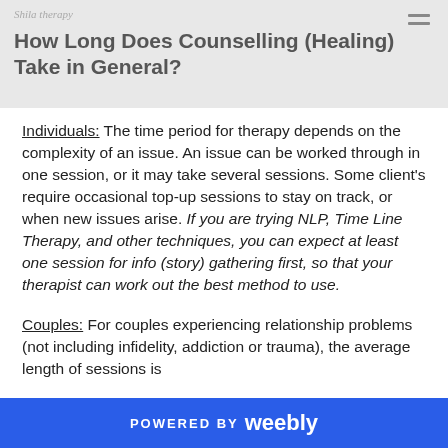Shila Therapy
How Long Does Counselling (Healing) Take in General?
Individuals: The time period for therapy depends on the complexity of an issue. An issue can be worked through in one session, or it may take several sessions. Some client's require occasional top-up sessions to stay on track, or when new issues arise. If you are trying NLP, Time Line Therapy, and other techniques, you can expect at least one session for info (story) gathering first, so that your therapist can work out the best method to use.
Couples: For couples experiencing relationship problems (not including infidelity, addiction or trauma), the average length of sessions is
POWERED BY weebly